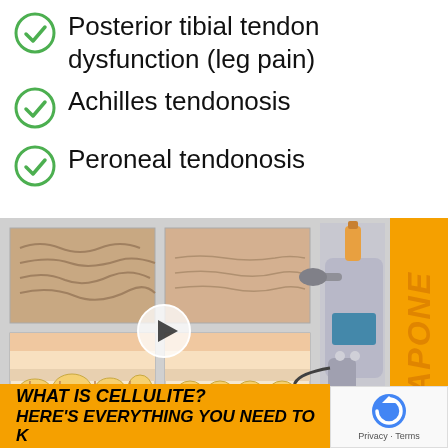Posterior tibial tendon dysfunction (leg pain)
Achilles tendonosis
Peroneal tendonosis
[Figure (photo): Medical screenshot/webpage showing a video thumbnail of before/after cellulite treatment images (skin surface and cross-section diagrams) alongside a medical device (shock wave therapy machine). Bottom orange banner reads 'WHAT IS CELLULITE? HERE'S EVERYTHING YOU NEED TO KNOW'. Orange sidebar on the right. reCAPTCHA badge at bottom right.]
WHAT IS CELLULITE? HERE'S EVERYTHING YOU NEED TO KNOW